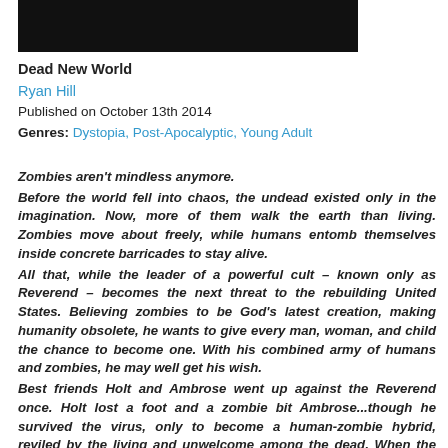[Figure (photo): Black rectangular book cover image at top of page]
Dead New World
Ryan Hill
Published on October 13th 2014
Genres: Dystopia, Post-Apocalyptic, Young Adult
Zombies aren't mindless anymore. Before the world fell into chaos, the undead existed only in the imagination. Now, more of them walk the earth than living. Zombies move about freely, while humans entomb themselves inside concrete barricades to stay alive. All that, while the leader of a powerful cult – known only as Reverend – becomes the next threat to the rebuilding United States. Believing zombies to be God's latest creation, making humanity obsolete, he wants to give every man, woman, and child the chance to become one. With his combined army of humans and zombies, he may well get his wish. Best friends Holt and Ambrose went up against the Reverend once. Holt lost a foot and a zombie bit Ambrose...though he survived the virus, only to become a human-zombie hybrid, reviled by the living and unwelcome among the dead. When the Reverend kidnaps the woman Holt loves, the race is on to save